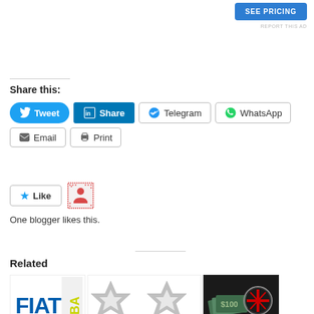[Figure (screenshot): SEE PRICING button (blue) in top right corner]
REPORT THIS AD
Share this:
[Figure (screenshot): Social share buttons: Tweet (blue rounded), Share (LinkedIn dark blue), Telegram (outlined), WhatsApp (outlined), Email (outlined), Print (outlined)]
[Figure (screenshot): Like button with star icon and avatar icon. Text: One blogger likes this.]
Related
[Figure (screenshot): Related article thumbnail images: FIAT logo, EBA logo, Chrysler star logos, cash with Alfa Romeo logo]